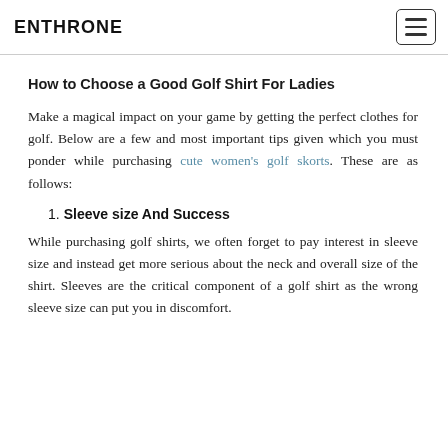ENTHRONE
How to Choose a Good Golf Shirt For Ladies
Make a magical impact on your game by getting the perfect clothes for golf. Below are a few and most important tips given which you must ponder while purchasing cute women's golf skorts. These are as follows:
1. Sleeve size And Success
While purchasing golf shirts, we often forget to pay interest in sleeve size and instead get more serious about the neck and overall size of the shirt. Sleeves are the critical component of a golf shirt as the wrong sleeve size can put you in discomfort.